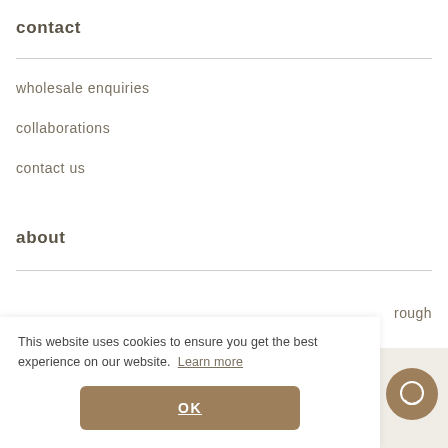contact
wholesale enquiries
collaborations
contact us
about
rough
This website uses cookies to ensure you get the best experience on our website.  Learn more
OK